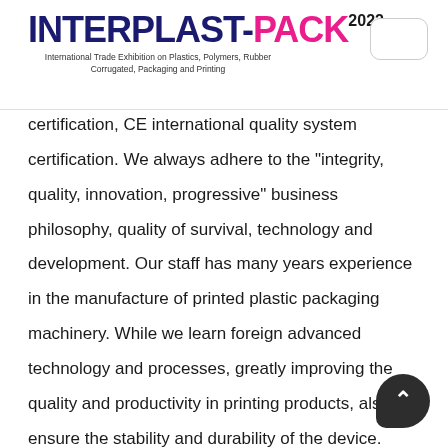INTERPLAST-PACK 2022 — International Trade Exhibition on Plastics, Polymers, Rubber Corrugated, Packaging and Printing
certification, CE international quality system certification. We always adhere to the "integrity, quality, innovation, progressive" business philosophy, quality of survival, technology and development. Our staff has many years experience in the manufacture of printed plastic packaging machinery. While we learn foreign advanced technology and processes, greatly improving the quality and productivity in printing products, also to ensure the stability and durability of the device. Maintenance is very convenient. Products are exported to Middle East, Southeast